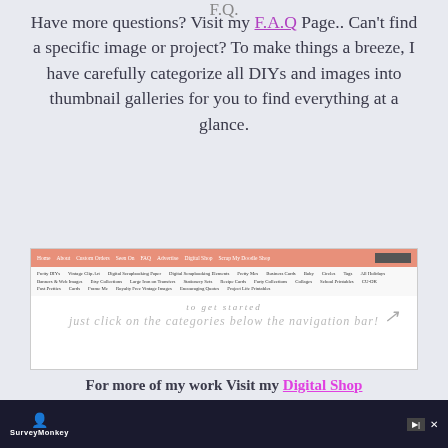Have more questions? Visit my F.A.Q Page.. Can't find a specific image or project? To make things a breeze, I have carefully categorize all DIYs and images into thumbnail galleries for you to find everything at a glance.
[Figure (screenshot): Screenshot of a website navigation bar with salmon/pink background showing menu items like Home, About, Custom Orders, Seen On, FAQ, Advertise, Digital Shop, Scrap My Doodle Shop. Below are category links: Pretty DIYs, Vintage Clip Art, Digital Scrapbooking Paper, etc. Main content area shows text 'to get started' and 'just click on the categories below the navigation bar!' with an arrow.]
For more of my work Visit my Digital Shop
[Figure (screenshot): SurveyMonkey advertisement bar in dark background with logo and close/skip buttons.]